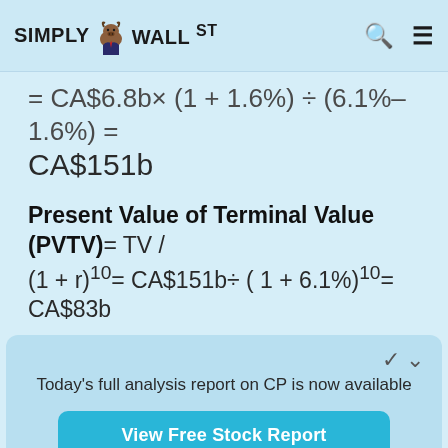Simply Wall St
Today's full analysis report on CP is now available
View Free Stock Report
divide this by the total number of shares outstanding. Relative to the current share price of